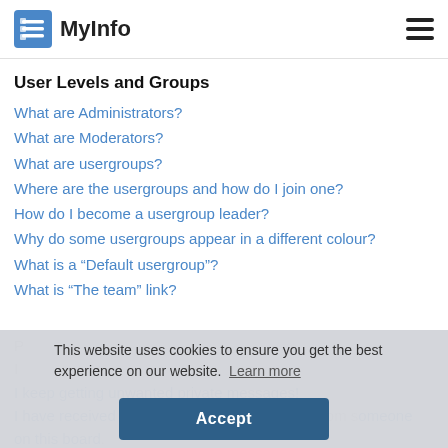MyInfo
User Levels and Groups
What are Administrators?
What are Moderators?
What are usergroups?
Where are the usergroups and how do I join one?
How do I become a usergroup leader?
Why do some usergroups appear in a different colour?
What is a “Default usergroup”?
What is “The team” link?
This website uses cookies to ensure you get the best experience on our website. Learn more
Accept